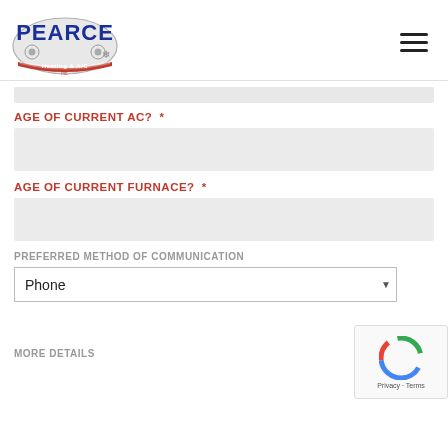Pearce Heating & A/C
AGE OF CURRENT AC?  *
[input field]
AGE OF CURRENT FURNACE?  *
[input field]
PREFERRED METHOD OF COMMUNICATION
Phone
MORE DETAILS